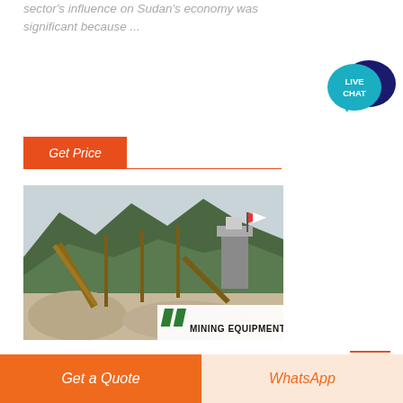sector's influence on Sudan's economy was significant because ...
[Figure (other): Button labeled Get Price with orange/red background]
[Figure (photo): Outdoor mining equipment site with conveyor belts, industrial towers, green hills in background, sandy foreground, MINING EQUIPMENT logo watermark in lower right]
[Figure (other): Live Chat speech bubble icon in teal and dark navy, top right corner]
[Figure (other): Bottom bar with Get a Quote (orange) and WhatsApp (light peach) buttons]